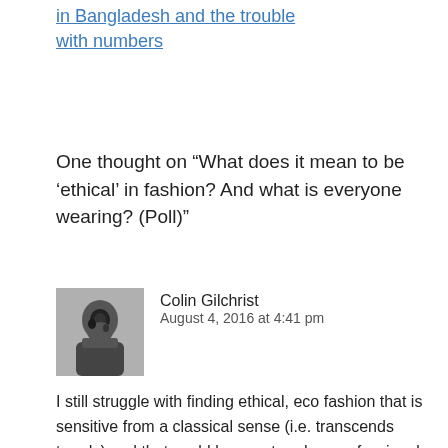in Bangladesh and the trouble with numbers
One thought on “What does it mean to be ‘ethical’ in fashion? And what is everyone wearing? (Poll)”
Colin Gilchrist
August 4, 2016 at 4:41 pm
I still struggle with finding ethical, eco fashion that is sensitive from a classical sense (i.e. transcends trends) and that could be construed as professional attire.
As a male who is looking for replacement and formal work-wear as well as casual clothing, the search continues for an outlet that provides an ethical choice. The choice exists if you